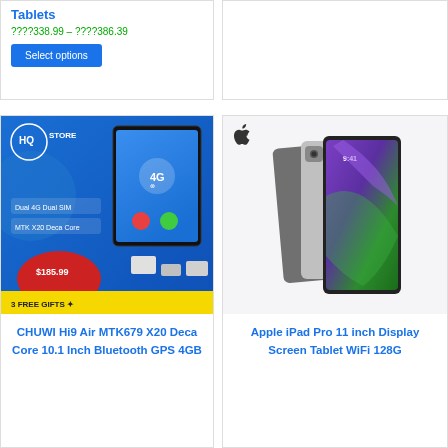Tablets
????338.99 – ????386.39
Select options
[Figure (screenshot): CHUWI Hi9 Air tablet product image with blue background, 4G badge, $185.99 price, 3 FREE GIFTS label, Dual 4G Dual SIM and MTK X20 Deca Core specs]
CHUWI Hi9 Air MTK679 X20 Deca Core 10.1 Inch Bluetooth GPS 4GB
[Figure (screenshot): Apple iPad Pro 11 inch tablets shown from front and back in space gray and silver colors]
Apple iPad Pro 11 inch Display Screen Tablet WiFi 128G